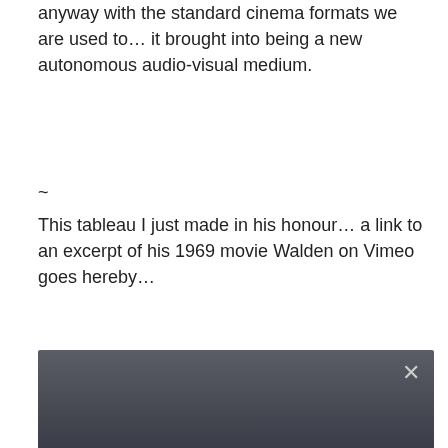anyway with the standard cinema formats we are used to… it brought into being a new autonomous audio-visual medium.
~
This tableau I just made in his honour… a link to an excerpt of his 1969 movie Walden on Vimeo goes hereby…
[Figure (screenshot): A dark video player screenshot with a close (×) button in the top right. The video shows large bold text 'I THOUGHT OF HOME' overlaid on a dark grey gradient background, with a smaller overlay message reading 'The player is having trouble. We'll have it back up and running as soon as possible.']